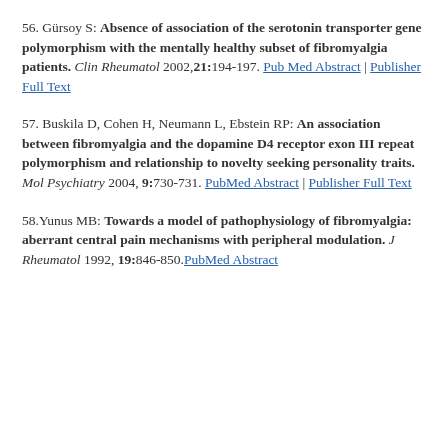56. Gürsoy S: Absence of association of the serotonin transporter gene polymorphism with the mentally healthy subset of fibromyalgia patients. Clin Rheumatol 2002,21:194-197. PubMed Abstract | Publisher Full Text
57. Buskila D, Cohen H, Neumann L, Ebstein RP: An association between fibromyalgia and the dopamine D4 receptor exon III repeat polymorphism and relationship to novelty seeking personality traits. Mol Psychiatry 2004, 9:730-731. PubMed Abstract | Publisher Full Text
58.Yunus MB: Towards a model of pathophysiology of fibromyalgia: aberrant central pain mechanisms with peripheral modulation. J Rheumatol 1992, 19:846-850. PubMed Abstract